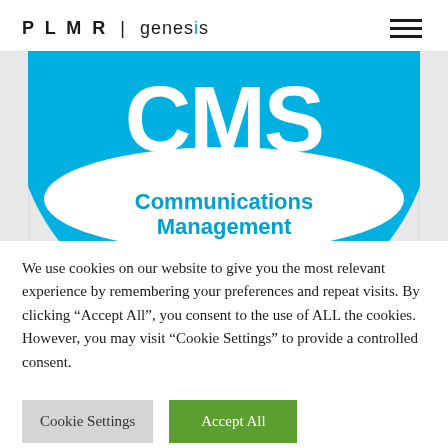P L M R | genesis
[Figure (logo): CMS logo — large cyan/blue circle with white 'CMS' letters on top arc and 'Communications Management' text in blue on white band at bottom, partially cropped]
We use cookies on our website to give you the most relevant experience by remembering your preferences and repeat visits. By clicking “Accept All”, you consent to the use of ALL the cookies. However, you may visit "Cookie Settings" to provide a controlled consent.
Cookie Settings | Accept All